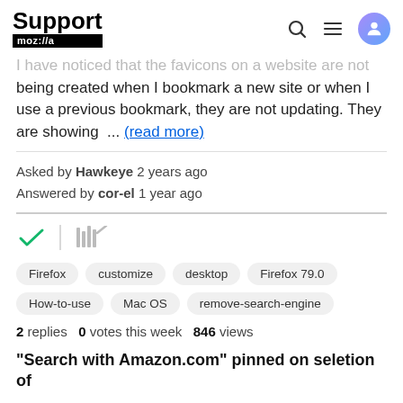Support mozilla//a
I have noticed that the favicons on a website are not being created when I bookmark a new site or when I use a previous bookmark, they are not updating. They are showing ... (read more)
Asked by Hawkeye 2 years ago
Answered by cor-el 1 year ago
[Figure (other): Checkmark icon (green) and library/archive icon (gray)]
Firefox
customize
desktop
Firefox 79.0
How-to-use
Mac OS
remove-search-engine
2 replies  0 votes this week  846 views
"Search with Amazon.com" pinned on seletion of